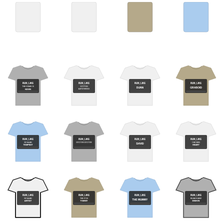[Figure (illustration): Grid of 16 t-shirts in 4 columns and 4 rows. Row 1: color swatches (white, white, tan/khaki, light blue). Row 2: gray t-shirt 'Run Like The Stake Is Kevin', white t-shirt 'Run Like A Scottish Something', white t-shirt 'Run Like Dunn', tan t-shirt 'Run Like Graboid'. Row 3: light blue t-shirt 'Run Like No Alan Tempest', gray t-shirt 'Run Like Doctor Doctor', white t-shirt 'Run Like David', white t-shirt 'Run Like Chicken Heart'. Row 4: white ringer t-shirt 'Run Like No Alan Artist', tan t-shirt 'Run Like No... Tommy', light blue t-shirt 'Run Like The Mummy', gray t-shirt 'Run Like No... Demon'.]